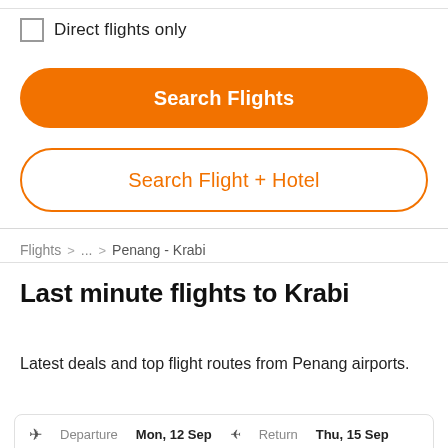Direct flights only
Search Flights
Search Flight + Hotel
Flights > ... > Penang - Krabi
Last minute flights to Krabi
Latest deals and top flight routes from Penang airports.
Departure Mon, 12 Sep  Return Thu, 15 Sep
PEN Penang